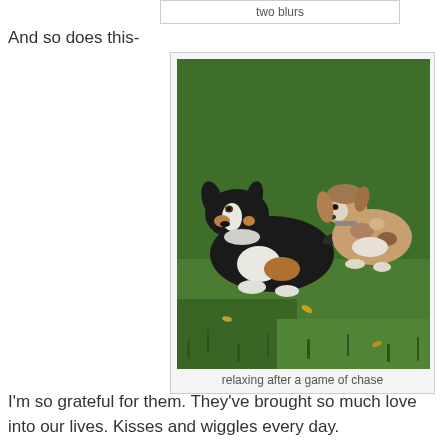two blurs
And so does this-
[Figure (photo): Two dogs lying on green grass — a large black/white/tan Australian Shepherd on the left and a smaller merle dachshund/spaniel mix on the right, both looking at the camera.]
relaxing after a game of chase
I'm so grateful for them.  They've brought so much love into our lives.  Kisses and wiggles every day.